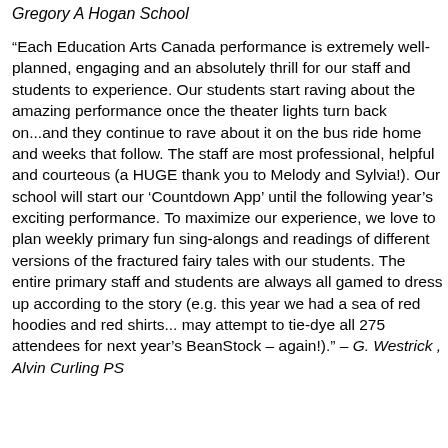Gregory A Hogan School
“Each Education Arts Canada performance is extremely well-planned, engaging and an absolutely thrill for our staff and students to experience. Our students start raving about the amazing performance once the theater lights turn back on...and they continue to rave about it on the bus ride home and weeks that follow. The staff are most professional, helpful and courteous (a HUGE thank you to Melody and Sylvia!). Our school will start our ‘Countdown App’ until the following year’s exciting performance. To maximize our experience, we love to plan weekly primary fun sing-alongs and readings of different versions of the fractured fairy tales with our students. The entire primary staff and students are always all gamed to dress up according to the story (e.g. this year we had a sea of red hoodies and red shirts... may attempt to tie-dye all 275 attendees for next year’s BeanStock – again!).” – G. Westrick , Alvin Curling PS